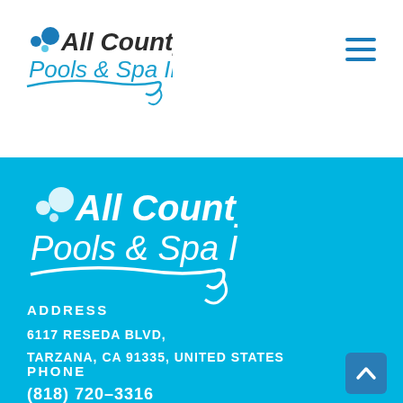All County Pools & Spa Inc. — navigation header with logo and hamburger menu
[Figure (logo): All County Pools & Spa Inc. logo with blue dots and italic bold text on white background]
[Figure (logo): All County Pools & Spa Inc. logo in white on blue background]
ADDRESS
6117 RESEDA BLVD,
TARZANA, CA 91335, UNITED STATES
PHONE
(818) 720-3316